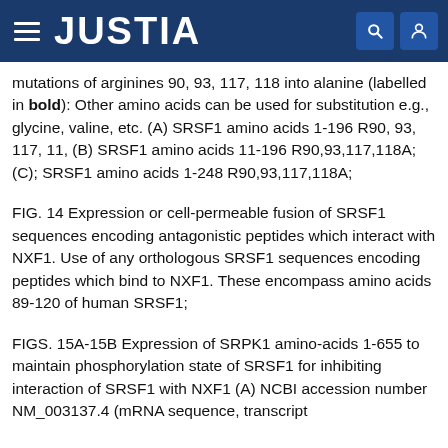JUSTIA
mutations of arginines 90, 93, 117, 118 into alanine (labelled in bold): Other amino acids can be used for substitution e.g., glycine, valine, etc. (A) SRSF1 amino acids 1-196 R90, 93, 117, 11, (B) SRSF1 amino acids 11-196 R90,93,117,118A; (C); SRSF1 amino acids 1-248 R90,93,117,118A;
FIG. 14 Expression or cell-permeable fusion of SRSF1 sequences encoding antagonistic peptides which interact with NXF1. Use of any orthologous SRSF1 sequences encoding peptides which bind to NXF1. These encompass amino acids 89-120 of human SRSF1;
FIGS. 15A-15B Expression of SRPK1 amino-acids 1-655 to maintain phosphorylation state of SRSF1 for inhibiting interaction of SRSF1 with NXF1 (A) NCBI accession number NM_003137.4 (mRNA sequence, transcript